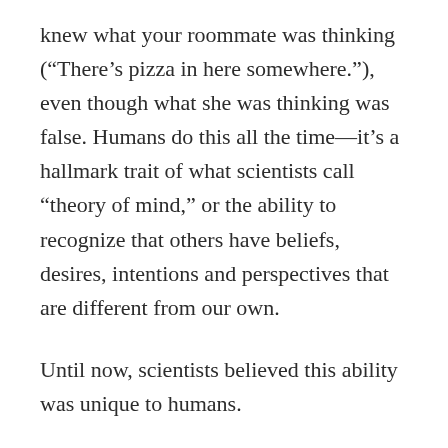knew what your roommate was thinking (“There’s pizza in here somewhere.”), even though what she was thinking was false. Humans do this all the time—it’s a hallmark trait of what scientists call “theory of mind,” or the ability to recognize that others have beliefs, desires, intentions and perspectives that are different from our own.
Until now, scientists believed this ability was unique to humans.
In new research published in Science, one of the world’s top